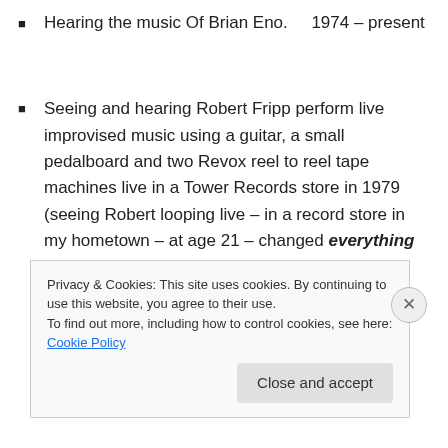Hearing the music Of Brian Eno.    1974 – present
Seeing and hearing Robert Fripp perform live improvised music using a guitar, a small pedalboard and two Revox reel to reel tape machines live in a Tower Records store in 1979 (seeing Robert looping live – in a record store in my hometown – at age 21 – changed everything permanently – it re-wired my brain from "lead guitarist" to "loop guitarist" and
Privacy & Cookies: This site uses cookies. By continuing to use this website, you agree to their use.
To find out more, including how to control cookies, see here: Cookie Policy
Close and accept